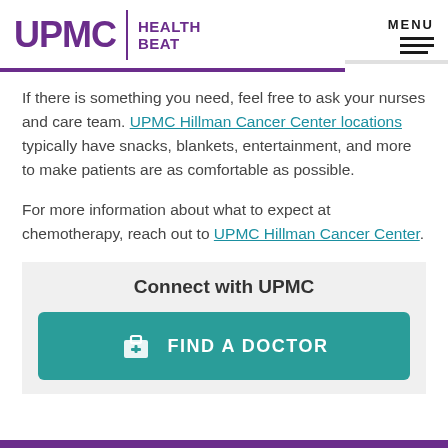UPMC HEALTH BEAT
If there is something you need, feel free to ask your nurses and care team. UPMC Hillman Cancer Center locations typically have snacks, blankets, entertainment, and more to make patients are as comfortable as possible.
For more information about what to expect at chemotherapy, reach out to UPMC Hillman Cancer Center.
Connect with UPMC
FIND A DOCTOR